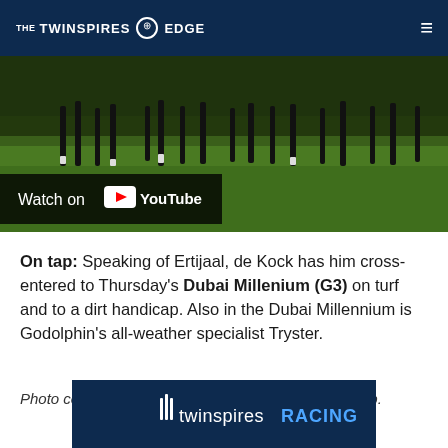THE TWINSPIRES EDGE
[Figure (screenshot): Partial video thumbnail showing horse racing on grass, with a YouTube 'Watch on YouTube' badge overlay in the lower left]
On tap: Speaking of Ertijaal, de Kock has him cross-entered to Thursday's Dubai Millenium (G3) on turf and to a dirt handicap. Also in the Dubai Millennium is Godolphin's all-weather specialist Tryster.
Photo courtesy of Andrew Watkins/Dubai Racing Club.
[Figure (logo): TwinSpires Racing advertisement banner with spire icons in white and blue text reading 'twinspires RACING']